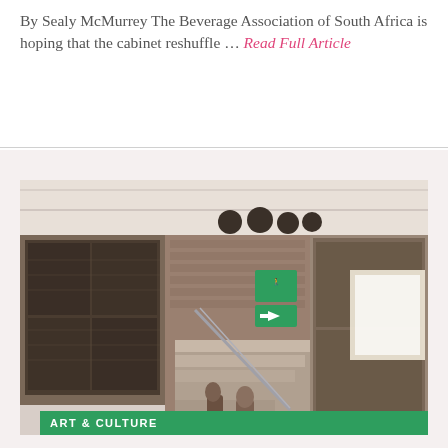By Sealy McMurrey The Beverage Association of South Africa is hoping that the cabinet reshuffle … Read Full Article
[Figure (photo): Interior photo of a museum or gallery stairwell with artworks on brick walls, stairs with metal railing, green emergency exit sign, and figurative sculptures at the base of the stairs.]
ART & CULTURE